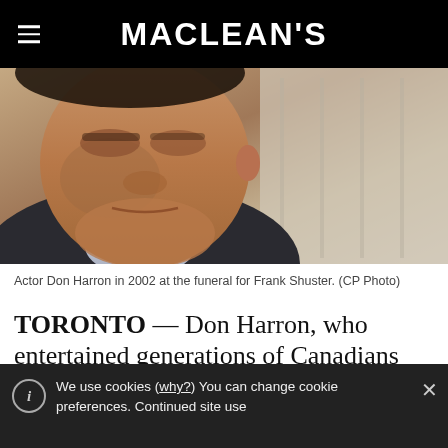MACLEAN'S
[Figure (photo): Actor Don Harron photographed in 2002 at the funeral for Frank Shuster, close-up of his face looking downward, wearing a dark suit and tie.]
Actor Don Harron in 2002 at the funeral for Frank Shuster. (CP Photo)
TORONTO — Don Harron, who entertained generations of Canadians with his comic
We use cookies (why?) You can change cookie preferences. Continued site use